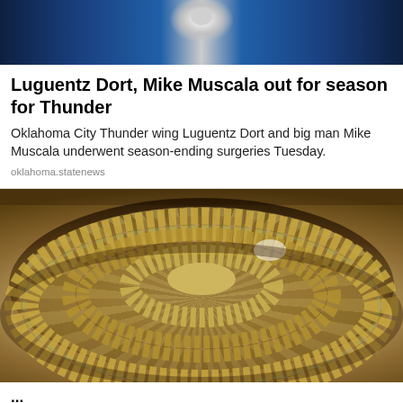[Figure (photo): Basketball player holding ball during game, partial view cropped at top]
Luguentz Dort, Mike Muscala out for season for Thunder
Oklahoma City Thunder wing Luguentz Dort and big man Mike Muscala underwent season-ending surgeries Tuesday.
oklahoma.statenews
[Figure (photo): Large circular arrangement of stacked bundled US dollar bills viewed from above, forming a spiral/ring pattern]
...